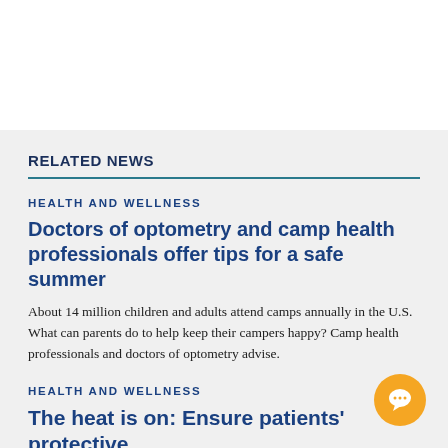RELATED NEWS
HEALTH AND WELLNESS
Doctors of optometry and camp health professionals offer tips for a safe summer
About 14 million children and adults attend camps annually in the U.S. What can parents do to help keep their campers happy? Camp health professionals and doctors of optometry advise.
HEALTH AND WELLNESS
The heat is on: Ensure patients' protective